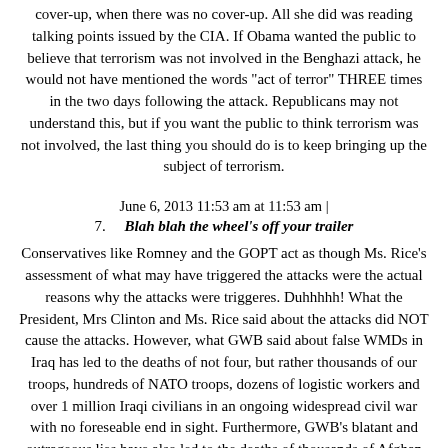cover-up, when there was no cover-up. All she did was reading talking points issued by the CIA. If Obama wanted the public to believe that terrorism was not involved in the Benghazi attack, he would not have mentioned the words "act of terror" THREE times in the two days following the attack. Republicans may not understand this, but if you want the public to think terrorism was not involved, the last thing you should do is to keep bringing up the subject of terrorism.
June 6, 2013 11:53 am at 11:53 am |
7. Blah blah the wheel's off your trailer
Conservatives like Romney and the GOPT act as though Ms. Rice's assessment of what may have triggered the attacks were the actual reasons why the attacks were triggeres. Duhhhhh! What the President, Mrs Clinton and Ms. Rice said about the attacks did NOT cause the attacks. However, what GWB said about false WMDs in Iraq has led to the deaths of not four, but rather thousands of our troops, hundreds of NATO troops, dozens of logistic workers and over 1 million Iraqi civilians in an ongoing widespread civil war with no foreseable end in sight. Furthermore, GWB's blatant and outrageous lies have also led to the deaths of thousands of Afghan civilians in a war that was deliberately and recklessly abandoned and prolonged for the invasion of